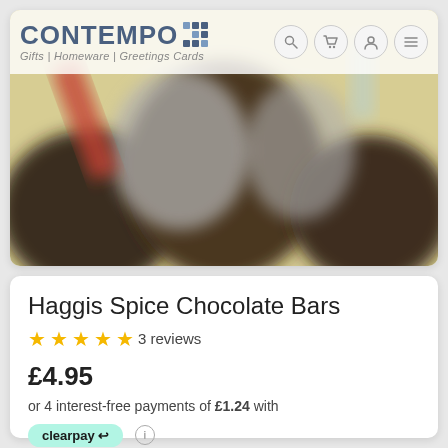[Figure (screenshot): E-commerce website screenshot showing Contempo Gifts store with product listing for Haggis Spice Chocolate Bars]
CONTEMPO | Gifts | Homeware | Greetings Cards
[Figure (photo): Blurred product photo showing chocolate bars in grey/silver packaging on a light background]
Haggis Spice Chocolate Bars
★★★★★ 3 reviews
£4.95
or 4 interest-free payments of £1.24 with
[Figure (logo): Clearpay logo badge in mint green]